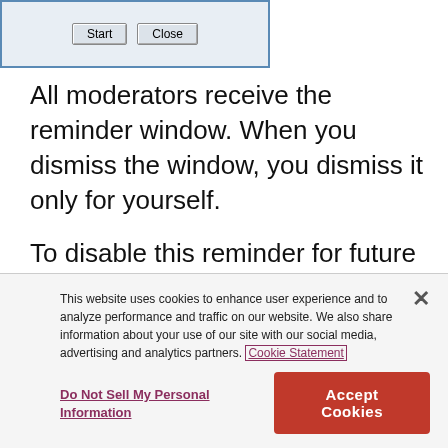[Figure (screenshot): A dialog window showing Start and Close buttons]
All moderators receive the reminder window. When you dismiss the window, you dismiss it only for yourself.
To disable this reminder for future sessions, select the Don't remind me again check box. You can enable the reminder for future sessions in the Preferences window.
This website uses cookies to enhance user experience and to analyze performance and traffic on our website. We also share information about your use of our site with our social media, advertising and analytics partners. Cookie Statement
Do Not Sell My Personal Information
Accept Cookies